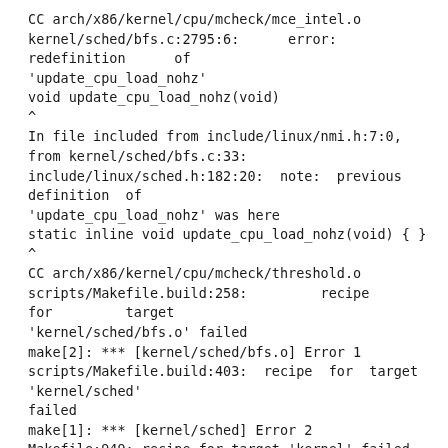CC arch/x86/kernel/cpu/mcheck/mce_intel.o
kernel/sched/bfs.c:2795:6:      error:      redefinition      of 'update_cpu_load_nohz'
void update_cpu_load_nohz(void)
^
In file included from include/linux/nmi.h:7:0,
from kernel/sched/bfs.c:33:
include/linux/sched.h:182:20:  note:  previous  definition  of 'update_cpu_load_nohz' was here
static inline void update_cpu_load_nohz(void) { }
^
CC arch/x86/kernel/cpu/mcheck/threshold.o
scripts/Makefile.build:258:         recipe         for         target 'kernel/sched/bfs.o' failed
make[2]: *** [kernel/sched/bfs.o] Error 1
scripts/Makefile.build:403:  recipe  for  target  'kernel/sched' failed
make[1]: *** [kernel/sched] Error 2
Makefile:949: recipe for target 'kernel' failed
make: *** [kernel] Error 2
make: *** Waiting for unfinished jobs....
CC arch/x86/mm/init.o